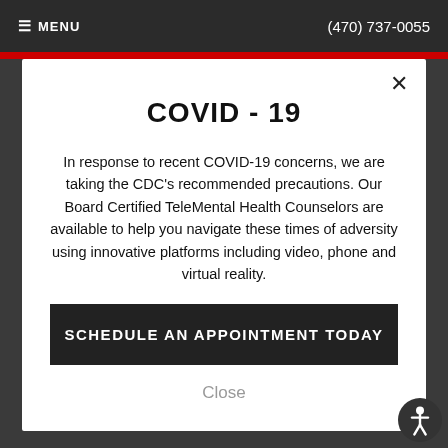≡ MENU   (470) 737-0055
COVID - 19
In response to recent COVID-19 concerns, we are taking the CDC's recommended precautions. Our Board Certified TeleMental Health Counselors are available to help you navigate these times of adversity using innovative platforms including video, phone and virtual reality.
SCHEDULE AN APPOINTMENT TODAY
Close